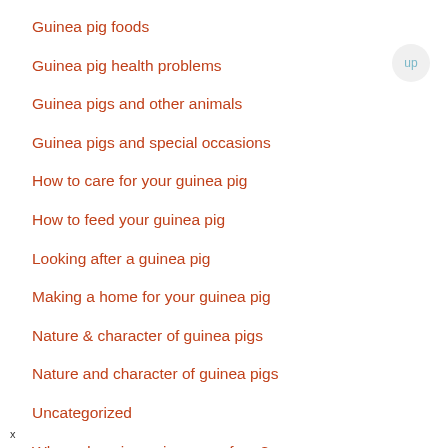Guinea pig foods
Guinea pig health problems
Guinea pigs and other animals
Guinea pigs and special occasions
How to care for your guinea pig
How to feed your guinea pig
Looking after a guinea pig
Making a home for your guinea pig
Nature & character of guinea pigs
Nature and character of guinea pigs
Uncategorized
Where do guinea pigs come from?